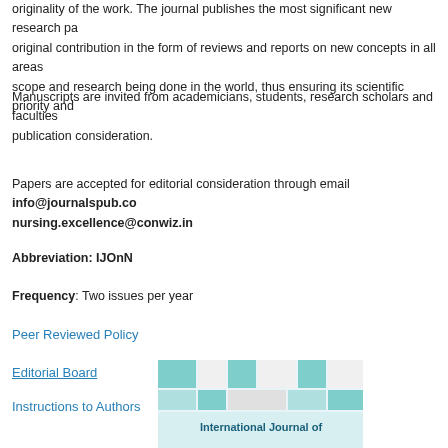originality of the work. The journal publishes the most significant new research pa... original contribution in the form of reviews and reports on new concepts in all areas... scope and research being done in the world, thus ensuring its scientific priority and...
Manuscripts are invited from academicians, students, research scholars and faculties... publication consideration.
Papers are accepted for editorial consideration through email info@journalspub.co... nursing.excellence@conwiz.in
Abbreviation: IJOnN
Frequency: Two issues per year
Peer Reviewed Policy
Editorial Board
Instructions to Authors
[Figure (illustration): Journal cover image for International Journal of Nursing showing a teal and grey geometric mosaic/grid pattern with text 'International Journal of' at the bottom]